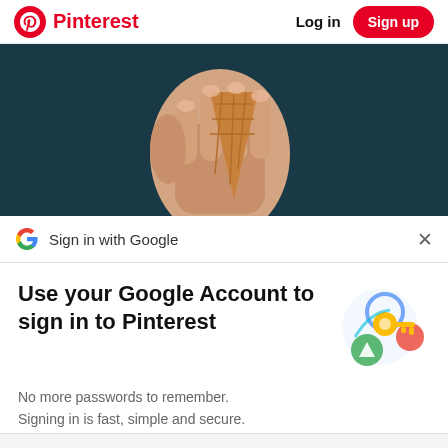Pinterest  Log in  Sign up
[Figure (photo): A hand holding an ice cream cone against a dark teal background, cropped to show just the hand and cone.]
Sign in with Google
Use your Google Account to sign in to Pinterest
No more passwords to remember. Signing in is fast, simple and secure.
[Figure (illustration): Google account illustration showing a key and colorful circles.]
Continue